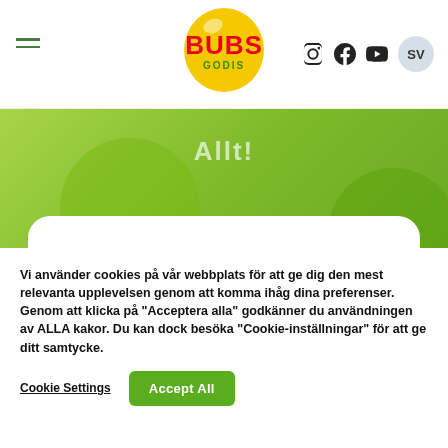[Figure (logo): BUBS Godis logo — yellow circle with red BUBS text and green GODIS text below]
[Figure (screenshot): Website header navigation with hamburger menu, BUBS Godis logo, Instagram, Facebook, YouTube social icons, and SV language button]
Allt!
Nyheter
[Figure (photo): Rounded white product card partially showing a colorful sugary candy (pink and blue) at the bottom]
Vi använder cookies på vår webbplats för att ge dig den mest relevanta upplevelsen genom att komma ihåg dina preferenser. Genom att klicka på "Acceptera alla" godkänner du användningen av ALLA kakor. Du kan dock besöka "Cookie-inställningar" för att ge ditt samtycke.
Cookie Settings
Accept All